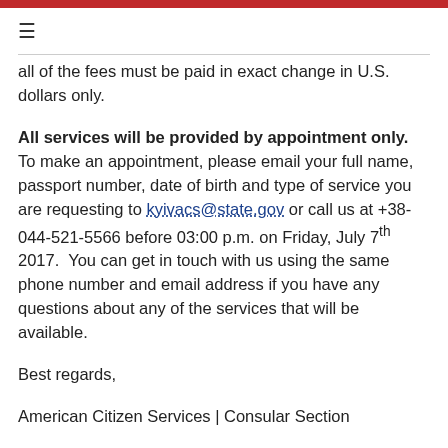≡
all of the fees must be paid in exact change in U.S. dollars only.
All services will be provided by appointment only.  To make an appointment, please email your full name, passport number, date of birth and type of service you are requesting to kyivacs@state.gov or call us at +38-044-521-5566 before 03:00 p.m. on Friday, July 7th 2017.  You can get in touch with us using the same phone number and email address if you have any questions about any of the services that will be available.
Best regards,
American Citizen Services | Consular Section